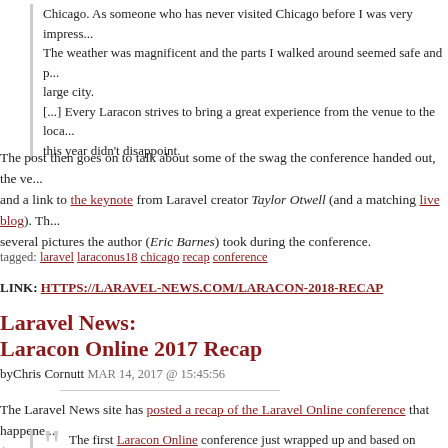Chicago. As someone who has never visited Chicago before I was very impress... The weather was magnificent and the parts I walked around seemed safe and p... large city.
[...] Every Laracon strives to bring a great experience from the venue to the loca... this year didn't disappoint.
The post then goes on to talk about some of the swag the conference handed out, the ve... and a link to the keynote from Laravel creator Taylor Otwell (and a matching live blog). Th... several pictures the author (Eric Barnes) took during the conference.
tagged: laravel laraconus18 chicago recap conference
LINK: HTTPS://LARAVEL-NEWS.COM/LARACON-2018-RECAP
Laravel News:
Laracon Online 2017 Recap
byChris Cornutt MAR 14, 2017 @ 15:45:56
The Laravel News site has posted a recap of the Laravel Online conference that happene... (2017).
The first Laracon Online conference just wrapped up and based on feedback m... event. I want to personally thank the Laravel community for helping make this a... [...] We had developers from all over the world hanging out in Slack, watching th...